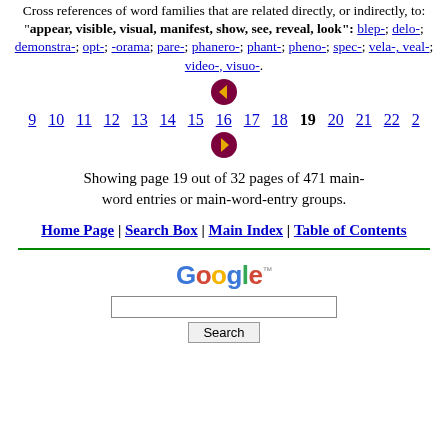Cross references of word families that are related directly, or indirectly, to: "appear, visible, visual, manifest, show, see, reveal, look": blep-; delo-; demonstra-; opt-; -orama; pare-; phanero-; phant-; pheno-; spec-; vela-, veal-; video-, visuo-.
[Figure (other): Navigation arrows and page numbers: 9 10 11 12 13 14 15 16 17 18 19 20 21 22 ... with up and down arrow icons around page 15]
Showing page 19 out of 32 pages of 471 main-word entries or main-word-entry groups.
Home Page | Search Box | Main Index | Table of Contents
[Figure (other): Google search box with Search button]